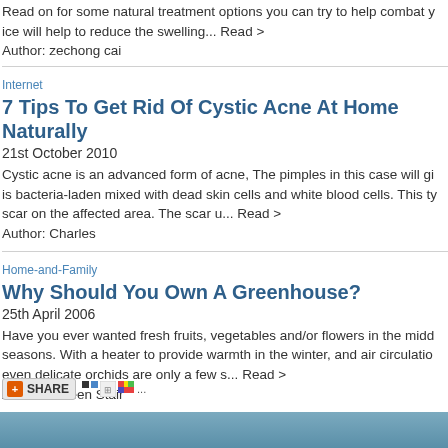Read on for some natural treatment options you can try to help combat y ice will help to reduce the swelling... Read >
Author: zechong cai
Internet
7 Tips To Get Rid Of Cystic Acne At Home Naturally
21st October 2010
Cystic acne is an advanced form of acne, The pimples in this case will gi is bacteria-laden mixed with dead skin cells and white blood cells. This ty scar on the affected area. The scar u... Read >
Author: Charles
Home-and-Family
Why Should You Own A Greenhouse?
25th April 2006
Have you ever wanted fresh fruits, vegetables and/or flowers in the midd seasons. With a heater to provide warmth in the winter, and air circulatio even delicate orchids are only a few s... Read >
Author: Coleen Stair